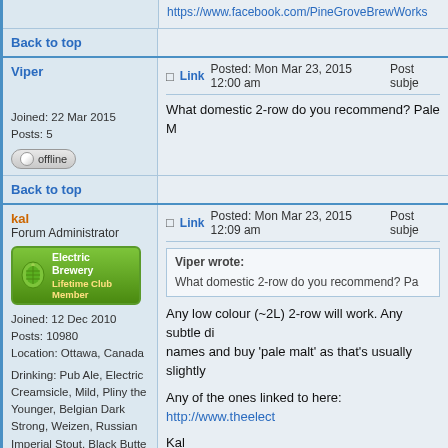https://www.facebook.com/PineGroveBrewWorks
Back to top
Viper
Link   Posted: Mon Mar 23, 2015 12:00 am   Post subject:
What domestic 2-row do you recommend? Pale M
Joined: 22 Mar 2015
Posts: 5
offline
Back to top
kal
Forum Administrator
Link   Posted: Mon Mar 23, 2015 12:09 am   Post subject:
Viper wrote:
What domestic 2-row do you recommend? Pa
Any low colour (~2L) 2-row will work. Any subtle di
names and buy 'pale malt' as that's usually slightly
Any of the ones linked to here: http://www.theelect
Kal
Joined: 12 Dec 2010
Posts: 10980
Location: Ottawa, Canada
Drinking: Pub Ale, Electric Creamsicle, Mild, Pliny the Younger, Belgian Dark Strong, Weizen, Russian Imperial Stout, Black Butte Porter
offline